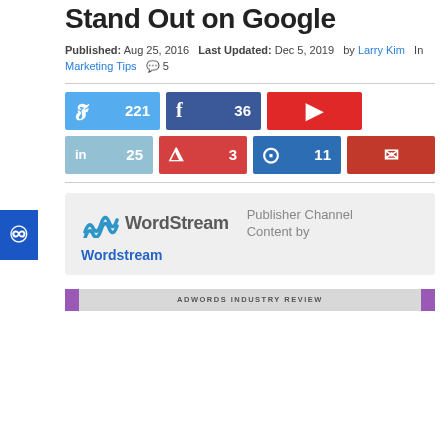Stand Out on Google
Published: Aug 25, 2016   Last Updated: Dec 5, 2019   by Larry Kim   In Marketing Tips  💬 5
[Figure (other): Social share buttons row 1: Twitter 221, Facebook 36, Flipboard (no count)]
[Figure (other): Social share buttons row 2: LinkedIn 25, Pinterest 3, Pocket 11, Email]
[Figure (other): WordStream Publisher Channel Content by Wordstream logo box]
[Figure (other): AdWords Industry Review banner at bottom]